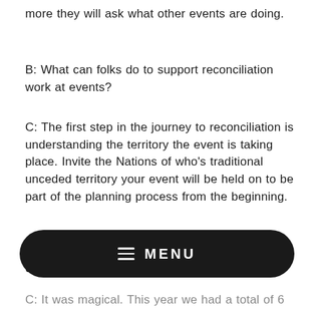more they will ask what other events are doing.
B: What can folks do to support reconciliation work at events?
C: The first step in the journey to reconciliation is understanding the territory the event is taking place. Invite the Nations of who's traditional unceded territory your event will be held on to be part of the planning process from the beginning.
B: The Festival Afloat series was incredible! Tell us more about the events and the funds
C: It was magical. This year we had a total of 6